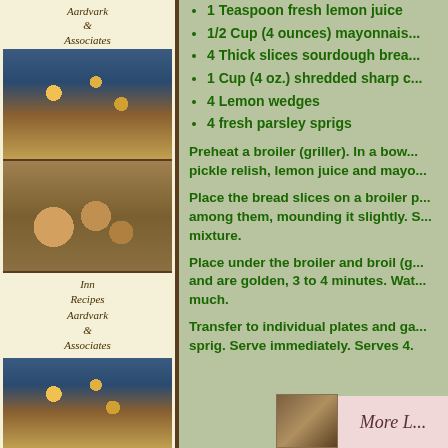[Figure (photo): Left sidebar with decorative food/table photos and Aardvark & Associates branding]
1 Teaspoon fresh lemon juice
1/2 Cup (4 ounces) mayonnais...
4 Thick slices sourdough brea...
1 Cup (4 oz.) shredded sharp c...
4 Lemon wedges
4 fresh parsley sprigs
Preheat a broiler (griller). In a bow... pickle relish, lemon juice and mayo...
Place the bread slices on a broiler p... among them, mounding it slightly. S... mixture.
Place under the broiler and broil (g... and are golden, 3 to 4 minutes. Wat... much.
Transfer to individual plates and ga... sprig. Serve immediately. Serves 4.
[Figure (photo): Small food photo at bottom right]
More L...